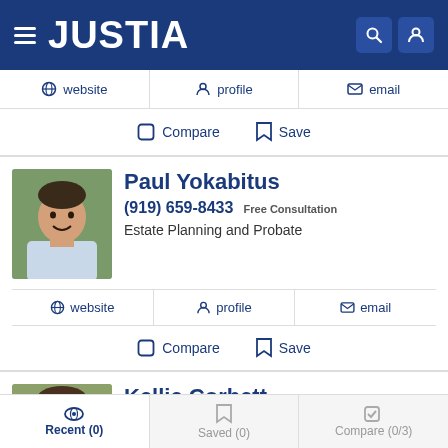JUSTIA
website  profile  email
Compare  Save
Paul Yokabitus
(919) 659-8433 Free Consultation
Estate Planning and Probate
website  profile  email
Compare  Save
Kellie Corbett
(919) 443-3035 Video Conf
Recent (0)  Saved (0)  Compare (0/3)